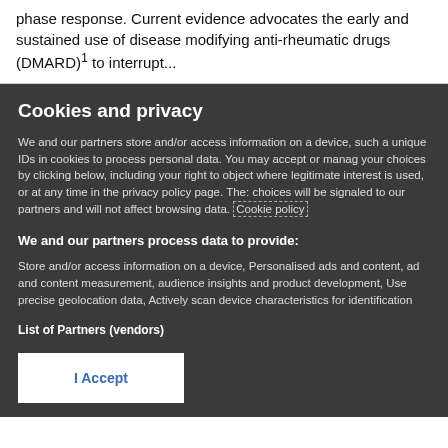phase response. Current evidence advocates the early and sustained use of disease modifying anti-rheumatic drugs (DMARD)¹ to interrupt...
Cookies and privacy
We and our partners store and/or access information on a device, such as unique IDs in cookies to process personal data. You may accept or manage your choices by clicking below, including your right to object where legitimate interest is used, or at any time in the privacy policy page. These choices will be signaled to our partners and will not affect browsing data. Cookie policy
We and our partners process data to provide:
Store and/or access information on a device, Personalised ads and content, ad and content measurement, audience insights and product development, Use precise geolocation data, Actively scan device characteristics for identification
List of Partners (vendors)
I Accept